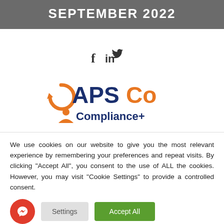SEPTEMBER 2022
[Figure (logo): Social media icons: Facebook, LinkedIn, Twitter]
[Figure (logo): APSCo Compliance+ logo with orange circular arrow and orange person icon]
We use cookies on our website to give you the most relevant experience by remembering your preferences and repeat visits. By clicking "Accept All", you consent to the use of ALL the cookies. However, you may visit "Cookie Settings" to provide a controlled consent.
Settings  Accept All